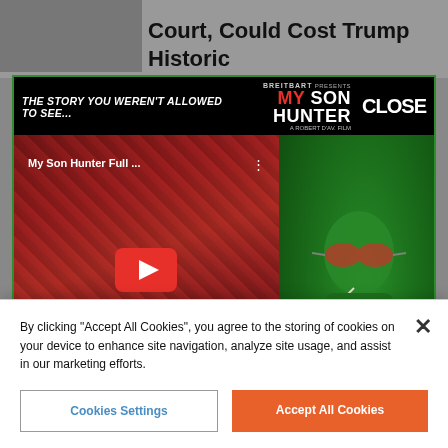[Figure (screenshot): Breitbart 'My Son Hunter' movie advertisement overlay with YouTube video thumbnail showing 'WATCH THE TRAILER', green background with man in red sunglasses, PRE-ORDER NOW button, COMING SEPT 7 text, and MYSONHUNTER.COM url.]
Into Neighbor's Home to Steal Panties
By WARNER TODD HUSTON | 30 May 2018, 10:05 AM PDT  1,320
By clicking "Accept All Cookies", you agree to the storing of cookies on your device to enhance site navigation, analyze site usage, and assist in our marketing efforts.
Cookies Settings
Accept All Cookies